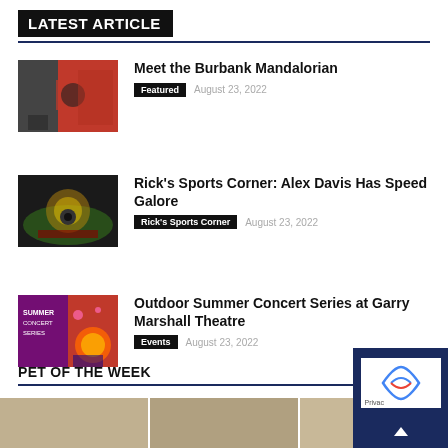LATEST ARTICLE
Meet the Burbank Mandalorian | Featured | August 23, 2022
Rick's Sports Corner: Alex Davis Has Speed Galore | Rick's Sports Corner | August 23, 2022
Outdoor Summer Concert Series at Garry Marshall Theatre | Events | August 23, 2022
PET OF THE WEEK